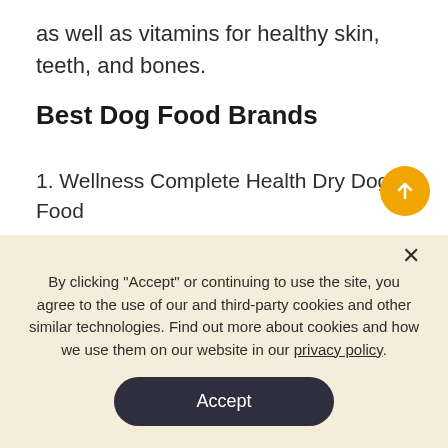as well as vitamins for healthy skin, teeth, and bones.
Best Dog Food Brands
1. Wellness Complete Health Dry Dog Food
2. Instinct Original Grain-Free Dry
3. Nature's Logic Dry Dog Food
By clicking "Accept" or continuing to use the site, you agree to the use of our and third-party cookies and other similar technologies. Find out more about cookies and how we use them on our website in our privacy policy.